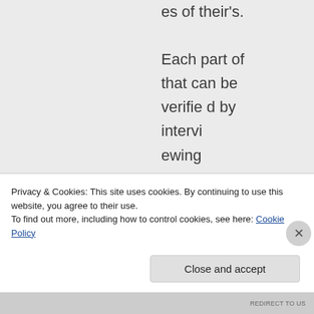es of their's. Each part of that can be verified by intervi ewing
Privacy & Cookies: This site uses cookies. By continuing to use this website, you agree to their use.
To find out more, including how to control cookies, see here: Cookie Policy
Close and accept
REDIRECT TO US